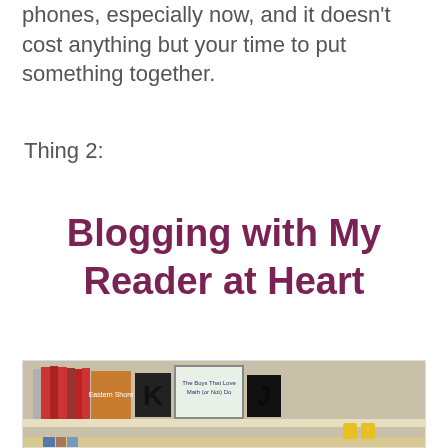phones, especially now, and it doesn't cost anything but your time to put something together.
Thing 2:
Blogging with My Reader at Heart
[Figure (photo): A wooden bookshelf displaying a row of books, two decorative letter tiles spelling 'K' and 'J', and a small framed print. The bottom of another shelf is visible below.]